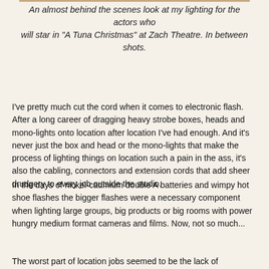An almost behind the scenes look at my lighting for the actors who will star in "A Tuna Christmas" at Zach Theatre. In between shots.
I've pretty much cut the cord when it comes to electronic flash. After a long career of dragging heavy strobe boxes, heads and mono-lights onto location after location I've had enough. And it's never just the box and head or the mono-lights that make the process of lighting things on location such a pain in the ass, it's also the cabling, connectors and extension cords that add sheer drudgery to every job outside the studio.
In the days of nickel-cadmium double A batteries and wimpy hot shoe flashes the bigger flashes were a necessary component when lighting large groups, big products or big rooms with power hungry medium format cameras and films. Now, not so much...
The worst part of location jobs seemed to be the lack of